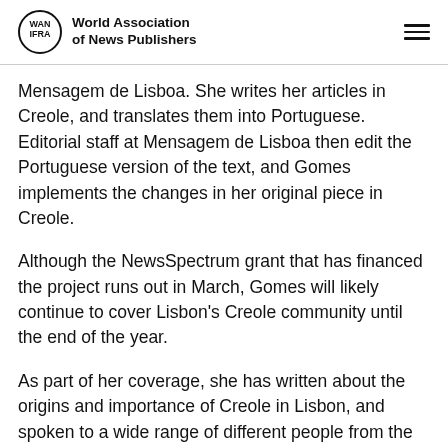World Association of News Publishers
Mensagem de Lisboa. She writes her articles in Creole, and translates them into Portuguese. Editorial staff at Mensagem de Lisboa then edit the Portuguese version of the text, and Gomes implements the changes in her original piece in Creole.
Although the NewsSpectrum grant that has financed the project runs out in March, Gomes will likely continue to cover Lisbon's Creole community until the end of the year.
As part of her coverage, she has written about the origins and importance of Creole in Lisbon, and spoken to a wide range of different people from the community, giving visibility to a group of people whose stories are otherwise rarely told in